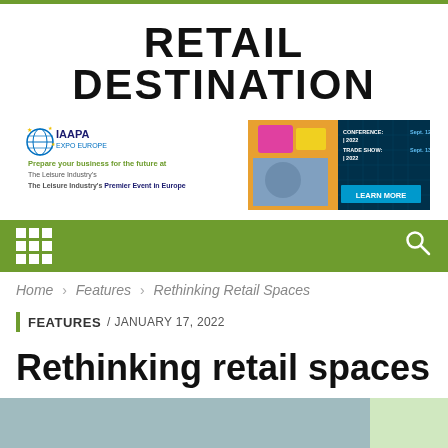RETAIL DESTINATION
[Figure (infographic): IAAPA Expo Europe advertisement banner. Conference: Sept. 12-15 | 2022, Trade Show: Sept. 13-15 | 2022. Prepare your business for the future at The Leisure Industry's Premier Event in Europe. LEARN MORE button.]
Navigation bar with grid menu icon and search icon
Home > Features > Rethinking Retail Spaces
FEATURES / JANUARY 17, 2022
Rethinking retail spaces